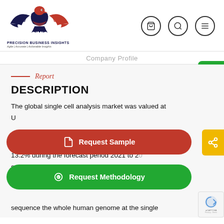[Figure (logo): Precision Business Insights eagle logo with red and navy blue colors, company name and tagline]
Company Profile
Report
DESCRIPTION
The global single cell analysis market was valued at [partially obscured] U[partially obscured] 13.2% during the forecast period 2021 to 2[partially obscured] sequence the whole human genome at the single